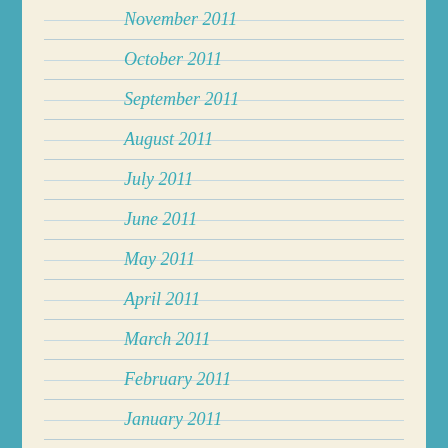November 2011
October 2011
September 2011
August 2011
July 2011
June 2011
May 2011
April 2011
March 2011
February 2011
January 2011
December 2010
November 2010
October 2010